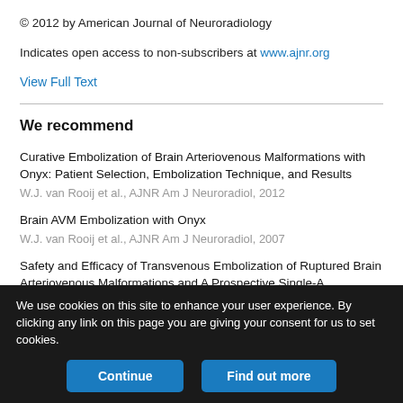© 2012 by American Journal of Neuroradiology
Indicates open access to non-subscribers at www.ajnr.org
View Full Text
We recommend
Curative Embolization of Brain Arteriovenous Malformations with Onyx: Patient Selection, Embolization Technique, and Results
W.J. van Rooij et al., AJNR Am J Neuroradiol, 2012
Brain AVM Embolization with Onyx
W.J. van Rooij et al., AJNR Am J Neuroradiol, 2007
Safety and Efficacy of Transvenous Embolization of Ruptured Brain Arteriovenous Malformations...
We use cookies on this site to enhance your user experience. By clicking any link on this page you are giving your consent for us to set cookies.